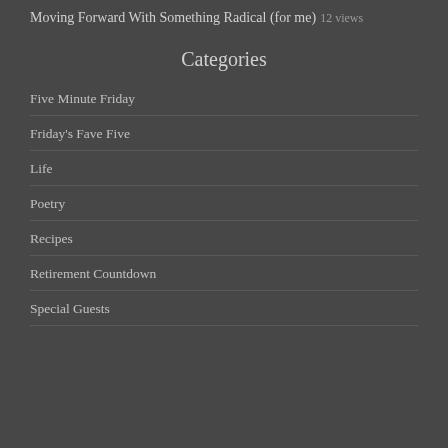Moving Forward With Something Radical (for me)
12 views
Categories
Five Minute Friday
Friday's Fave Five
Life
Poetry
Recipes
Retirement Countdown
Special Guests